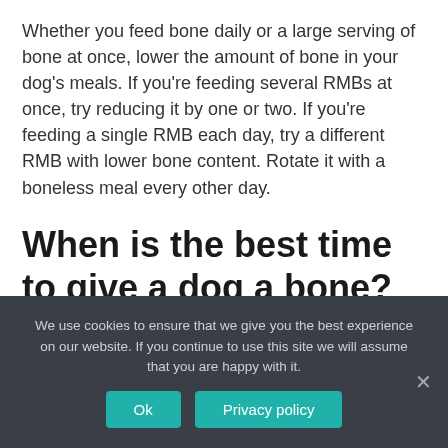Whether you feed bone daily or a large serving of bone at once, lower the amount of bone in your dog's meals. If you're feeding several RMBs at once, try reducing it by one or two. If you're feeding a single RMB each day, try a different RMB with lower bone content. Rotate it with a boneless meal every other day.
When is the best time to give a dog a bone?
We use cookies to ensure that we give you the best experience on our website. If you continue to use this site we will assume that you are happy with it.